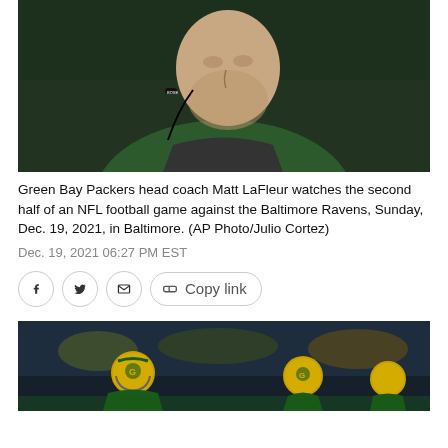[Figure (photo): Green Bay Packers head coach Matt LaFleur wearing a green hoodie and Bose headset microphone, looking up during a game.]
Green Bay Packers head coach Matt LaFleur watches the second half of an NFL football game against the Baltimore Ravens, Sunday, Dec. 19, 2021, in Baltimore. (AP Photo/Julio Cortez)
Dec. 19, 2021 06:27 PM EST
[Figure (infographic): Social sharing buttons row: Facebook, Twitter, Email icons in circles, and a Copy link button.]
[Figure (photo): Green Bay Packers players in yellow helmets on field during night game against Baltimore Ravens.]